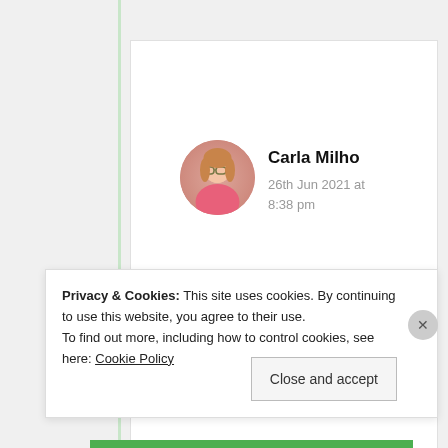[Figure (photo): Circular profile photo of Carla Milho, a young woman with glasses and pink clothing]
Carla Milho
26th Jun 2021 at 8:38 pm
My pleasure my dear 💝
💝❤️💕😍
★ Liked by 1 person
Privacy & Cookies: This site uses cookies. By continuing to use this website, you agree to their use.
To find out more, including how to control cookies, see here: Cookie Policy
Close and accept